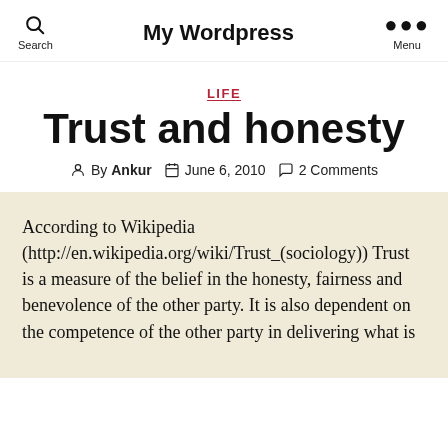My Wordpress
LIFE
Trust and honesty
By Ankur   June 6, 2010   2 Comments
According to Wikipedia (http://en.wikipedia.org/wiki/Trust_(sociology)) Trust is a measure of the belief in the honesty, fairness and benevolence of the other party. It is also dependent on the competence of the other party in delivering what is